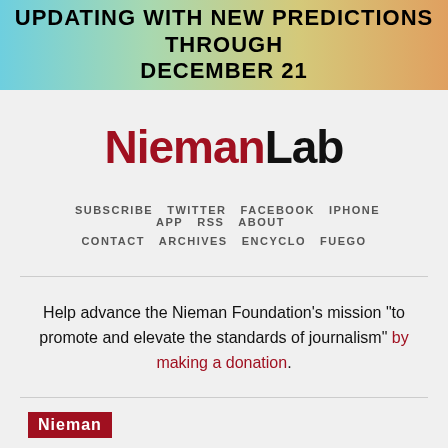UPDATING WITH NEW PREDICTIONS THROUGH DECEMBER 21
[Figure (logo): NiemanLab logo — red Nieman, black bold Lab]
SUBSCRIBE  TWITTER  FACEBOOK  IPHONE APP  RSS  ABOUT  CONTACT  ARCHIVES  ENCYCLO  FUEGO
Help advance the Nieman Foundation's mission "to promote and elevate the standards of journalism" by making a donation.
[Figure (logo): Nieman small red logo badge at bottom left]